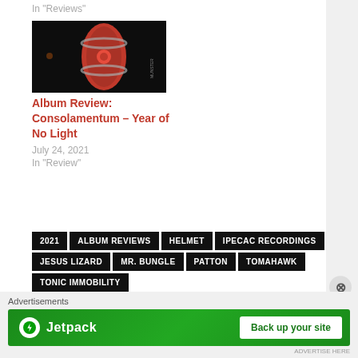In "Reviews"
[Figure (illustration): Album cover art for Consolamentum by Year of No Light — dark background with red elongated organic shape with gray bands and circular center element, small brown dot on left]
Album Review: Consolamentum – Year of No Light
July 24, 2021
In "Review"
2021
ALBUM REVIEWS
HELMET
IPECAC RECORDINGS
JESUS LIZARD
MR. BUNGLE
PATTON
TOMAHAWK
TONIC IMMOBILITY
Advertisements
[Figure (illustration): Jetpack advertisement banner — green background with Jetpack logo (white circle with lightning bolt icon) and text 'Jetpack', plus white button reading 'Back up your site']